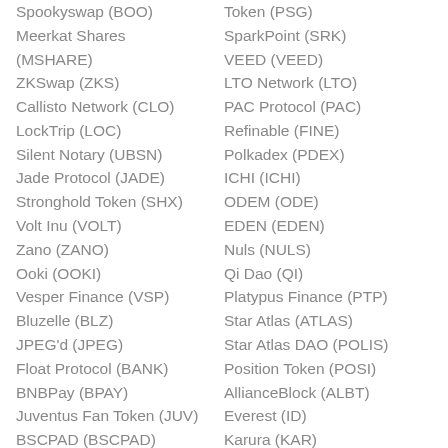Spookyswap (BOO)
Token (PSG)
Meerkat Shares (MSHARE)
SparkPoint (SRK)
VEED (VEED)
ZKSwap (ZKS)
LTO Network (LTO)
Callisto Network (CLO)
PAC Protocol (PAC)
LockTrip (LOC)
Refinable (FINE)
Silent Notary (UBSN)
Polkadex (PDEX)
Jade Protocol (JADE)
ICHI (ICHI)
Stronghold Token (SHX)
ODEM (ODE)
Volt Inu (VOLT)
EDEN (EDEN)
Zano (ZANO)
Nuls (NULS)
Ooki (OOKI)
Qi Dao (QI)
Vesper Finance (VSP)
Platypus Finance (PTP)
Bluzelle (BLZ)
Star Atlas (ATLAS)
JPEG'd (JPEG)
Star Atlas DAO (POLIS)
Float Protocol (BANK)
Position Token (POSI)
BNBPay (BPAY)
AllianceBlock (ALBT)
Juventus Fan Token (JUV)
Everest (ID)
BSCPAD (BSCPAD)
Karura (KAR)